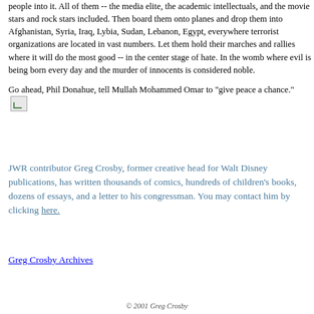people into it. All of them -- the media elite, the academic intellectuals, and the movie stars and rock stars included. Then board them onto planes and drop them into Afghanistan, Syria, Iraq, Lybia, Sudan, Lebanon, Egypt, everywhere terrorist organizations are located in vast numbers. Let them hold their marches and rallies where it will do the most good -- in the center stage of hate. In the womb where evil is being born every day and the murder of innocents is considered noble.
Go ahead, Phil Donahue, tell Mullah Mohammed Omar to "give peace a chance."
JWR contributor Greg Crosby, former creative head for Walt Disney publications, has written thousands of comics, hundreds of children's books, dozens of essays, and a letter to his congressman. You may contact him by clicking here.
Greg Crosby Archives
© 2001 Greg Crosby